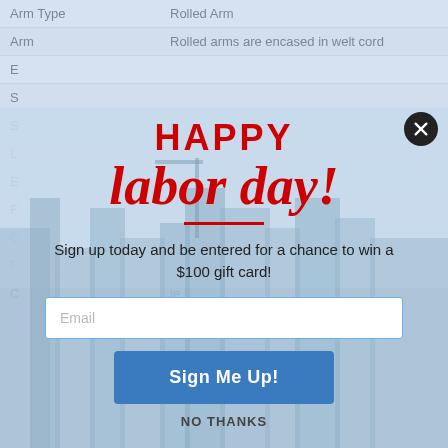|  |  |
| --- | --- |
| Arm Type | Rolled Arm |
| Arm | Rolled arms are encased in welt cord |
| E |  |
| S |  |
| S | n |
| L |  |
| E |  |
| F |  |
| C |  |
| F |  |
| C | le |
[Figure (screenshot): Happy Labor Day promotional modal overlay on a product specification page. The modal shows 'HAPPY' in bold red uppercase letters, 'labor day!' in large red italic script, a red horizontal divider line, promotional text 'Sign up today and be entered for a chance to win a $100 gift card!', an email input field, a blue 'Sign Me Up!' button, and a 'NO THANKS' text link. A black circular close button with an X is in the top-right corner. The modal is overlaid on a city skyline background image.]